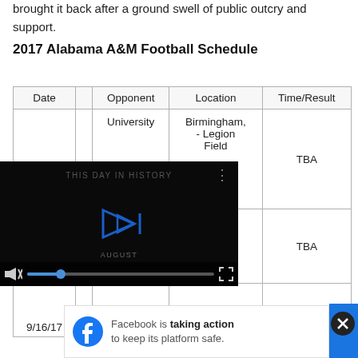brought it back after a ground swell of public outcry and support.
2017 Alabama A&M Football Schedule
| Date | Opponent | Location | Time/Result |
| --- | --- | --- | --- |
|  | University | Birmingham, - Legion Field | TBA |
|  |  | shville, TN | TBA |
| 9/16/17 | University of South | Mobile, Al | TBA |
[Figure (screenshot): Video player overlay showing 'This Day in History' with a play button, mute icon, progress bar with blue dot, and fullscreen icon. Month label 'AUGUST' visible.]
[Figure (screenshot): Facebook ad banner reading 'Facebook is taking action to keep its platform safe.' with Facebook logo icon and a close (X) button.]